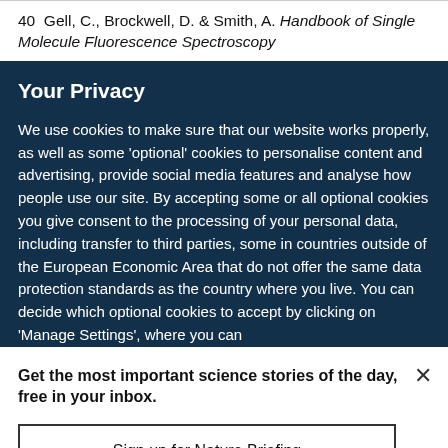40  Gell, C., Brockwell, D. & Smith, A. Handbook of Single Molecule Fluorescence Spectroscopy
Your Privacy
We use cookies to make sure that our website works properly, as well as some 'optional' cookies to personalise content and advertising, provide social media features and analyse how people use our site. By accepting some or all optional cookies you give consent to the processing of your personal data, including transfer to third parties, some in countries outside of the European Economic Area that do not offer the same data protection standards as the country where you live. You can decide which optional cookies to accept by clicking on 'Manage Settings', where you can
Get the most important science stories of the day, free in your inbox.
Sign up for Nature Briefing